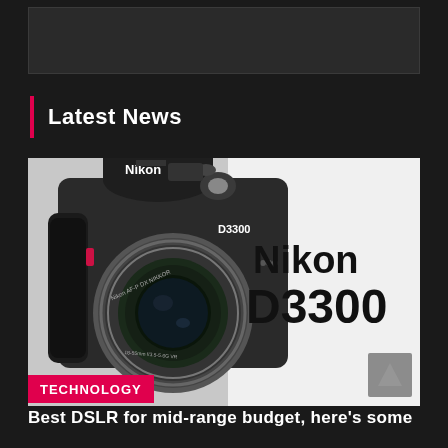[Figure (other): Top banner advertisement placeholder - dark gray rectangle]
Latest News
[Figure (photo): Nikon D3300 DSLR camera product photo showing the camera body with lens, and Nikon D3300 branding text on white background]
TECHNOLOGY
Best DSLR for mid-range budget, here's some